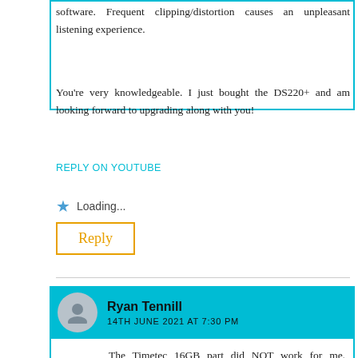software. Frequent clipping/distortion causes an unpleasant listening experience.
You're very knowledgeable. I just bought the DS220+ and am looking forward to upgrading along with you!
REPLY ON YOUTUBE
Loading...
Reply
Ryan Tennill
14TH JUNE 2021 AT 7:30 PM
The Timetec 16GB part did NOT work for me. Verified is indicates dual rank (2R in part #) and reseated, rebooted multiple times with no di...